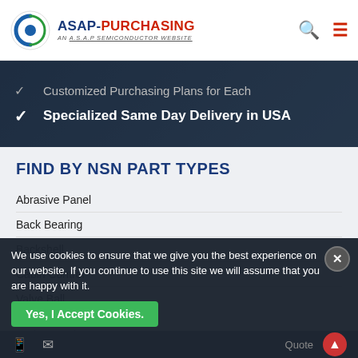ASAP-PURCHASING AN A.S.A.P SEMICONDUCTOR WEBSITE
[Figure (screenshot): Dark banner with checkmark items: 'Customized Purchasing Plans for Each' and 'Specialized Same Day Delivery in USA']
FIND BY NSN PART TYPES
Abrasive Panel
Back Bearing
Backshell
Cabin Control
Valve Ball
Spring Washer
Half Clamp
We use cookies to ensure that we give you the best experience on our website. If you continue to use this site we will assume that you are happy with it.
Yes, I Accept Cookies.  Quote